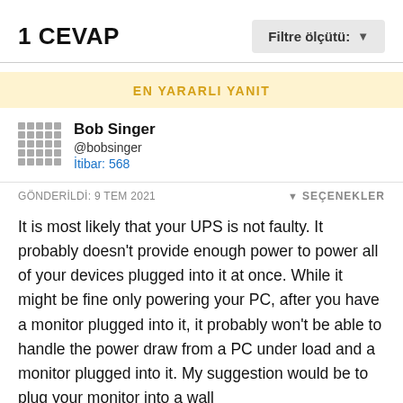1 CEVAP
Filtre ölçütü:
EN YARARLI YANIT
Bob Singer
@bobsinger
İtibar: 568
GÖNDERİLDİ: 9 TEM 2021
SEÇENEKLER
It is most likely that your UPS is not faulty. It probably doesn't provide enough power to power all of your devices plugged into it at once. While it might be fine only powering your PC, after you have a monitor plugged into it, it probably won't be able to handle the power draw from a PC under load and a monitor plugged into it. My suggestion would be to plug your monitor into a wall